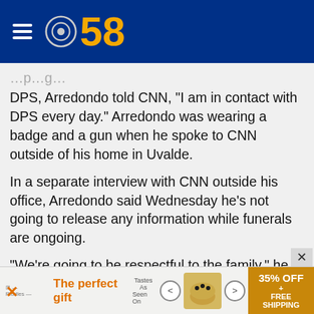CBS 58
DPS, Arredondo told CNN, "I am in contact with DPS every day." Arredondo was wearing a badge and a gun when he spoke to CNN outside of his home in Uvalde.
In a separate interview with CNN outside his office, Arredondo said Wednesday he's not going to release any information while funerals are ongoing.
"We're going to be respectful to the family," he said. "We're going to do that eventually. Whenever this is done and the families quit grieving, then we'll do that obviously."
It's the first time Arredondo has commented publicly
[Figure (infographic): Advertisement banner: 'The perfect gift' with food product image, navigation arrows, and '35% OFF + FREE SHIPPING' badge]